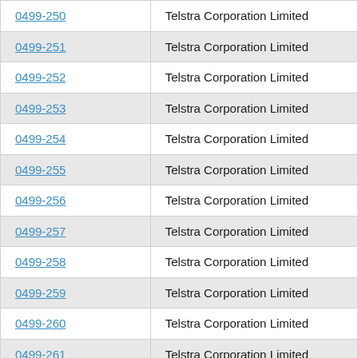| Code | Name |
| --- | --- |
| 0499-250 | Telstra Corporation Limited |
| 0499-251 | Telstra Corporation Limited |
| 0499-252 | Telstra Corporation Limited |
| 0499-253 | Telstra Corporation Limited |
| 0499-254 | Telstra Corporation Limited |
| 0499-255 | Telstra Corporation Limited |
| 0499-256 | Telstra Corporation Limited |
| 0499-257 | Telstra Corporation Limited |
| 0499-258 | Telstra Corporation Limited |
| 0499-259 | Telstra Corporation Limited |
| 0499-260 | Telstra Corporation Limited |
| 0499-261 | Telstra Corporation Limited |
| 0499-262 | Telstra Corporation Limited |
| 0499-263 | Telstra Corporation Limited |
| 0499-264 | Telstra Corporation Limited |
| 0499-265 | Telstra Corporation Limited |
| 0499-266 | Telstra Corporation Limited |